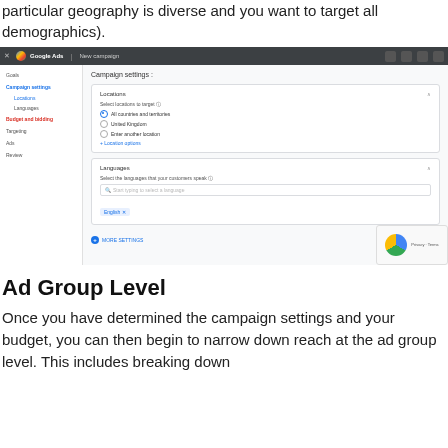particular geography is diverse and you want to target all demographics).
[Figure (screenshot): Google Ads 'New campaign' interface showing Campaign settings with Locations panel (All countries and territories selected) and Languages panel (English selected), plus MORE SETTINGS link and NEXT button.]
Ad Group Level
Once you have determined the campaign settings and your budget, you can then begin to narrow down reach at the ad group level. This includes breaking down